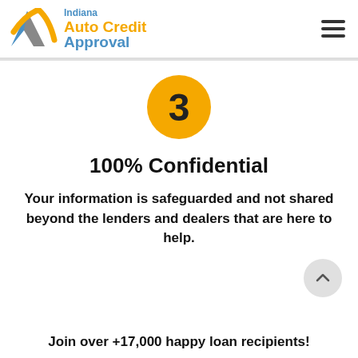[Figure (logo): Indiana Auto Credit Approval logo with blue and yellow checkmark/A shape and text]
[Figure (infographic): Orange circle with number 3 inside, representing step 3]
100% Confidential
Your information is safeguarded and not shared beyond the lenders and dealers that are here to help.
[Figure (other): Scroll-to-top button with upward chevron arrow]
Join over +17,000 happy loan recipients!